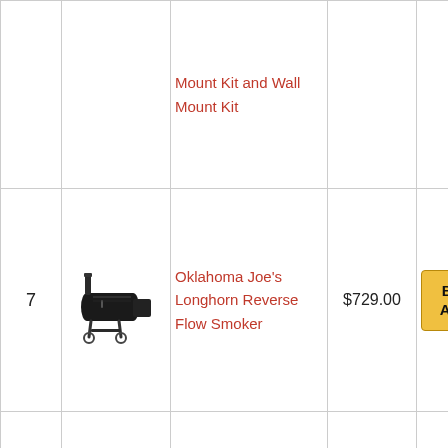| # | Image | Product Name | Price | Action |
| --- | --- | --- | --- | --- |
|  |  | Mount Kit and Wall Mount Kit |  |  |
| 7 | [smoker image] | Oklahoma Joe's Longhorn Reverse Flow Smoker | $729.00 | Buy Ama |
|  |  | Regalo 56-Inch Extra WideSpan Walk Through Baby Gate, Includes 4-... |  |  |